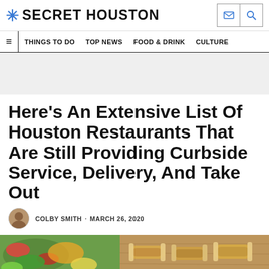* SECRET HOUSTON
THINGS TO DO · TOP NEWS · FOOD & DRINK · CULTURE
[Figure (other): Gray advertisement banner placeholder]
Here's An Extensive List Of Houston Restaurants That Are Still Providing Curbside Service, Delivery, And Take Out
COLBY SMITH · MARCH 26, 2020
[Figure (photo): Food photo showing colorful dishes and what appears to be tamales on a wooden surface]